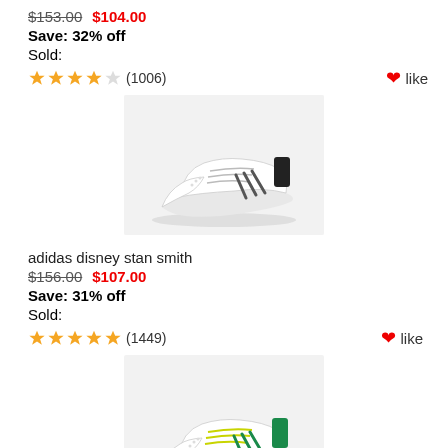$153.00  $104.00
Save: 32% off
Sold:
★★★★☆ (1006)  ♥like
[Figure (photo): Adidas Disney Stan Smith sneaker with black heel tab, white leather upper, side profile view on light gray background]
adidas disney stan smith
$156.00  $107.00
Save: 31% off
Sold:
★★★★★ (1449)  ♥like
[Figure (photo): Adidas Stan Smith sneaker with green heel tab, white leather upper, yellow/green laces, side profile view on light gray background]